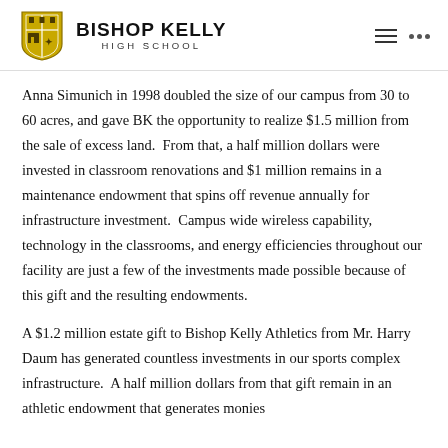Bishop Kelly High School
Anna Simunich in 1998 doubled the size of our campus from 30 to 60 acres, and gave BK the opportunity to realize $1.5 million from the sale of excess land.  From that, a half million dollars were invested in classroom renovations and $1 million remains in a maintenance endowment that spins off revenue annually for infrastructure investment.  Campus wide wireless capability, technology in the classrooms, and energy efficiencies throughout our facility are just a few of the investments made possible because of this gift and the resulting endowments.
A $1.2 million estate gift to Bishop Kelly Athletics from Mr. Harry Daum has generated countless investments in our sports complex infrastructure.  A half million dollars from that gift remain in an athletic endowment that generates monies…